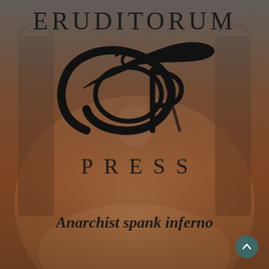ERUDITORUM
[Figure (logo): Eruditorum Press stylized EP logo in black calligraphic script with flowing oval and pen strokes]
PRESS
Anarchist spank inferno